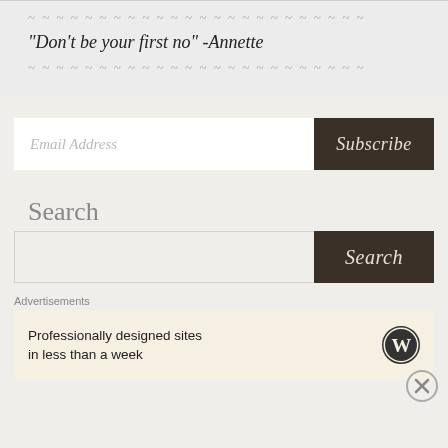"Don't be your first no" -Annette
Email Address
Subscribe
Search
Search
Advertisements
Professionally designed sites in less than a week